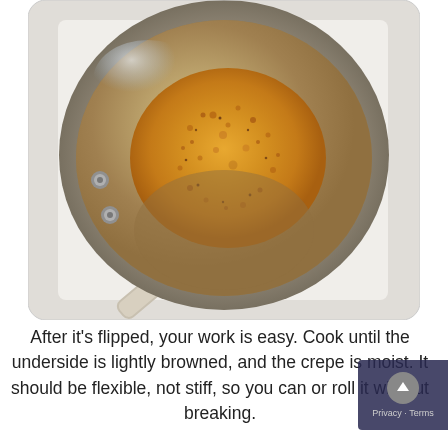[Figure (photo): A golden-yellow crepe cooking in a round stainless steel frying pan viewed from above, sitting on a white stovetop surface. The crepe has small bubbles across its surface. The pan handle extends to the lower left.]
After it's flipped, your work is easy. Cook until the underside is lightly browned, and the crepe is moist. It should be flexible, not stiff, so you can or roll it without breaking.